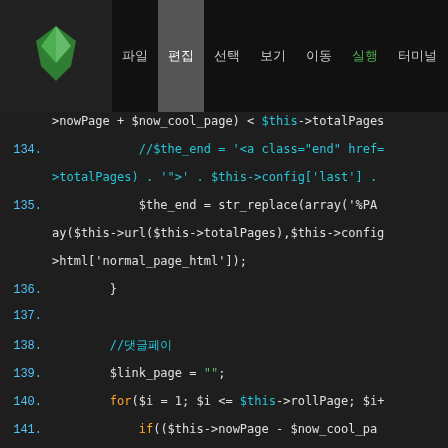[Figure (screenshot): IDE/code editor header with logo and navigation menu tabs]
Code editor showing PHP pagination code, lines 133-145
Line 134: //$the_end = '<a class="end" href=...
Line 135: $the_end = str_replace(array('%PA...
Line 136: }
Line 137: (empty)
Line 138: //댓글페이지
Line 139: $link_page = "";
Line 140: for($i = 1; $i <= $this->rollPage; $i+...
Line 141: if(($this->nowPage - $now_cool_pa...
Line 142: $page = $i;
Line 143: }elseif(($this->nowPage + $now_co...
Line 144: $page = $this->totalPages - $t...
Line 145: }else{